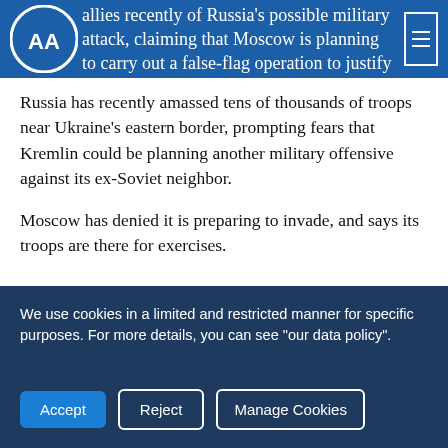administration has warned its European allies recently of Russia's possible military attack, claiming that Moscow is planning to carry out a false-flag operation to justify invasion of Ukraine.
Russia has recently amassed tens of thousands of troops near Ukraine's eastern border, prompting fears that Kremlin could be planning another military offensive against its ex-Soviet neighbor.
Moscow has denied it is preparing to invade, and says its troops are there for exercises.
Anadolu Agency website contains only a portion of the news stories offered to
We use cookies in a limited and restricted manner for specific purposes. For more details, you can see "our data policy".